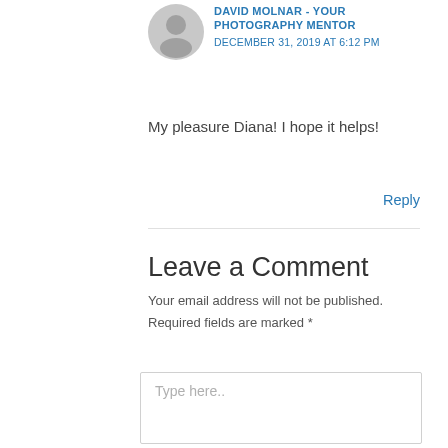[Figure (illustration): Grey circular avatar placeholder icon]
DAVID MOLNAR - YOUR PHOTOGRAPHY MENTOR
DECEMBER 31, 2019 AT 6:12 PM
My pleasure Diana! I hope it helps!
Reply
Leave a Comment
Your email address will not be published. Required fields are marked *
Type here..